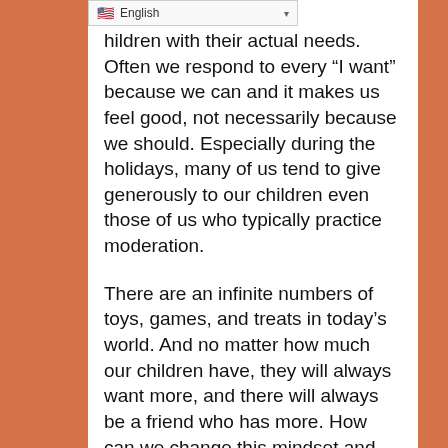English
hildren with their actual needs. Often we respond to every “I want” because we can and it makes us feel good, not necessarily because we should. Especially during the holidays, many of us tend to give generously to our children even those of us who typically practice moderation.
There are an infinite numbers of toys, games, and treats in today’s world. And no matter how much our children have, they will always want more, and there will always be a friend who has more. How can we change this mindset and raise caring and giving children that know the importance of giving rather than getting? How do we avoid over spoiling our kids during the